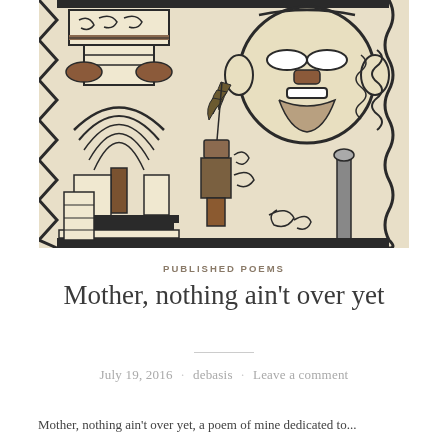[Figure (illustration): Decorative tribal/indigenous-style artwork featuring stylized faces, geometric patterns, scrollwork, and anthropomorphic figures rendered in black, brown, and cream/beige tones on a light background. The artwork has a ceramic or textile quality reminiscent of Pre-Columbian or African art styles.]
PUBLISHED POEMS
Mother, nothing ain't over yet
July 19, 2016 · debasis · Leave a comment
Mother, nothing ain't over yet, a poem of mine dedicated to...